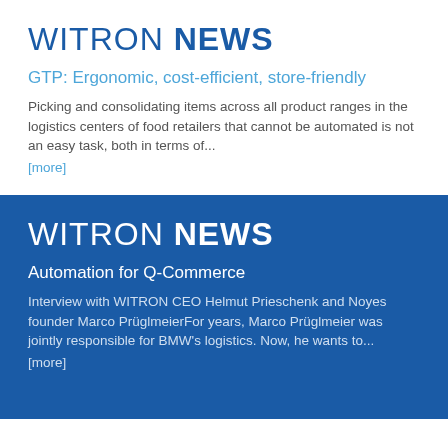WITRON NEWS
GTP: Ergonomic, cost-efficient, store-friendly
Picking and consolidating items across all product ranges in the logistics centers of food retailers that cannot be automated is not an easy task, both in terms of...
[more]
WITRON NEWS
Automation for Q-Commerce
Interview with WITRON CEO Helmut Prieschenk and Noyes founder Marco PrüglmeierFor years, Marco Prüglmeier was jointly responsible for BMW's logistics. Now, he wants to...
[more]